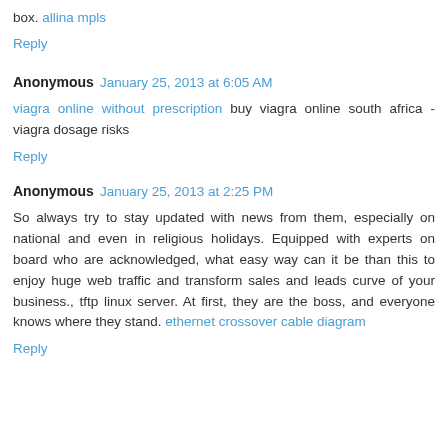box. allina mpls
Reply
Anonymous January 25, 2013 at 6:05 AM
viagra online without prescription buy viagra online south africa - viagra dosage risks
Reply
Anonymous January 25, 2013 at 2:25 PM
So always try to stay updated with news from them, especially on national and even in religious holidays. Equipped with experts on board who are acknowledged, what easy way can it be than this to enjoy huge web traffic and transform sales and leads curve of your business., tftp linux server. At first, they are the boss, and everyone knows where they stand. ethernet crossover cable diagram
Reply